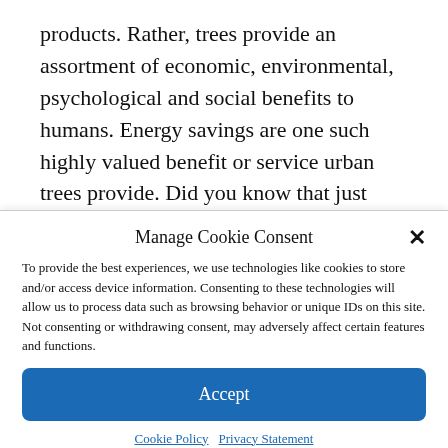products. Rather, trees provide an assortment of economic, environmental, psychological and social benefits to humans. Energy savings are one such highly valued benefit or service urban trees provide. Did you know that just 17% shade on a building from trees for example can reduce power bills by $10/ month or that urban trees can lower surrounding temperatures by as
Manage Cookie Consent
To provide the best experiences, we use technologies like cookies to store and/or access device information. Consenting to these technologies will allow us to process data such as browsing behavior or unique IDs on this site. Not consenting or withdrawing consent, may adversely affect certain features and functions.
Accept
Cookie Policy  Privacy Statement